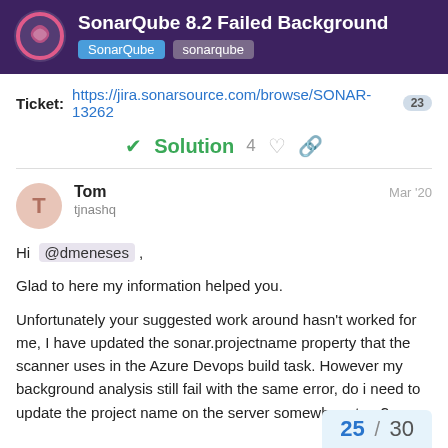SonarQube 8.2 Failed Background | SonarQube | sonarqube
Ticket: https://jira.sonarsource.com/browse/SONAR-13262 23
✓ Solution  4
Tom  tjnashq  Mar '20
Hi @dmeneses ,

Glad to here my information helped you.

Unfortunately your suggested work around hasn't worked for me, I have updated the sonar.projectname property that the scanner uses in the Azure Devops build task. However my background analysis still fail with the same error, do i need to update the project name on the server somewhere too ?
25 / 30